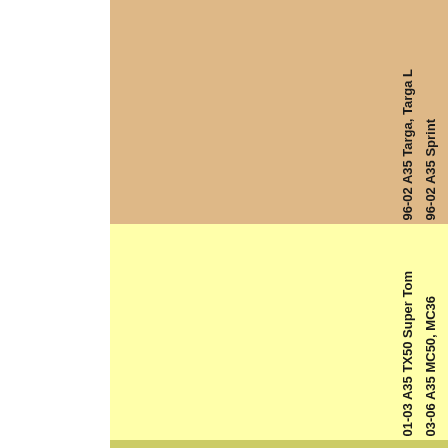[Figure (other): Color swatch page showing two colored rectangles: top half in beige/tan color with rotated bold text listing model years and product names (96-02 A35 Targa, Targa L; 96-02 A35 Sprint; 98-99 A35 TT Classic, 05; 03-06 A35 Sprint Tomo), bottom half in pale yellow with rotated bold text (01-03 A35 TX50 Super Tom; 03-06 A35 MC50, MC36; 02-04 A35 Revival). Left side is white.]